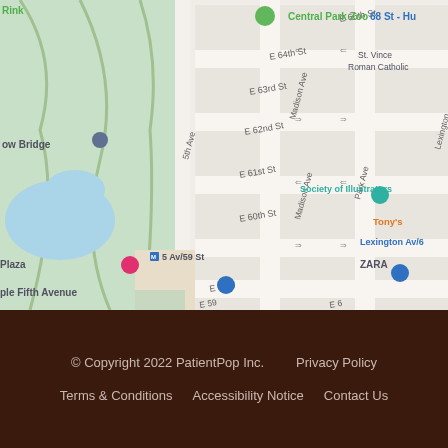[Figure (map): Google Maps view of Upper East Side Manhattan, New York City, showing streets including E 58th St through E 66th St, 5th Ave, Madison Ave, Park Ave, Lexington Ave. Notable landmarks visible: Central Park Zoo, Bow Bridge area, Society of Illustrators, ZARA, Tony's, Lexington Av/6, 5 Av/59 St subway station, Apple Fifth Avenue, The Plaza hotel.]
© Copyright 2022 PatientPop Inc.    Privacy Policy    Terms & Conditions    Accessibility Notice    Contact Us